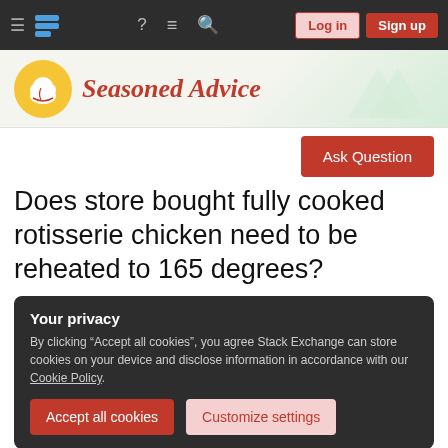Stack Exchange / Seasoned Advice navigation bar with Log in and Sign up buttons
[Figure (logo): Seasoned Advice site logo: yellow circle with chef hat icon and red italic text 'Seasoned Advice']
Ask Question
Does store bought fully cooked rotisserie chicken need to be reheated to 165 degrees?
Your privacy
By clicking "Accept all cookies", you agree Stack Exchange can store cookies on your device and disclose information in accordance with our Cookie Policy.
Accept all cookies
Customize settings